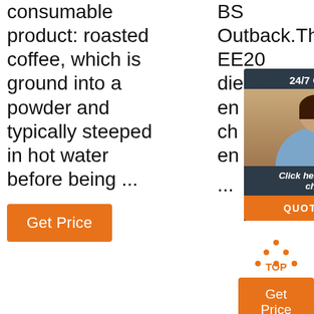consumable product: roasted coffee, which is ground into a powder and typically steeped in hot water before being ...
[Figure (other): Orange 'Get Price' button on left column]
BS Outback.The EE20 diesel en... ur... su... ch... 20... wi... en... st... th... ...
[Figure (other): Chat popup with '24/7 Online' header, customer service representative photo, 'Click here for free chat!' footer, and QUOTATION button]
[Figure (other): TOP arrow icon with orange 'Get Price' button on right column bottom]